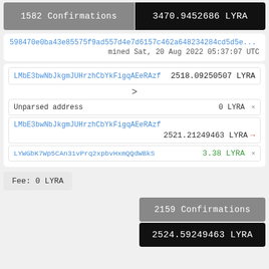1582 Confirmations
3470.9452686 LYRA
598470e0ba43e85575f9ad557d4e7d6157c462a648234284cd5d5e...
mined Sat, 20 Aug 2022 05:37:07 UTC
LMbE3bwNbJkgmJUHrzhCbYkFigqAEeRAzf  2518.09250507 LYRA
>
Unparsed address   0 LYRA x
LMbE3bwNbJkgmJUHrzhCbYkFigqAEeRAzf
2521.21249463 LYRA →
LYWGbK7Wp5CAn31vPrq2xpbvHxmQQdWBkS   3.38 LYRA x
Fee: 0 LYRA
2159 Confirmations
2524.59249463 LYRA